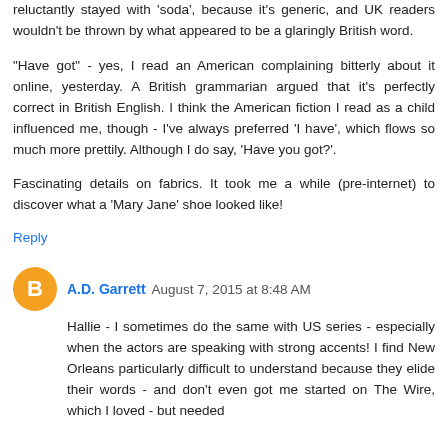reluctantly stayed with 'soda', because it's generic, and UK readers wouldn't be thrown by what appeared to be a glaringly British word.
"Have got" - yes, I read an American complaining bitterly about it online, yesterday. A British grammarian argued that it's perfectly correct in British English. I think the American fiction I read as a child influenced me, though - I've always preferred 'I have', which flows so much more prettily. Although I do say, 'Have you got?'.
Fascinating details on fabrics. It took me a while (pre-internet) to discover what a 'Mary Jane' shoe looked like!
Reply
A.D. Garrett  August 7, 2015 at 8:48 AM
Hallie - I sometimes do the same with US series - especially when the actors are speaking with strong accents! I find New Orleans particularly difficult to understand because they elide their words - and don't even got me started on The Wire, which I loved - but needed